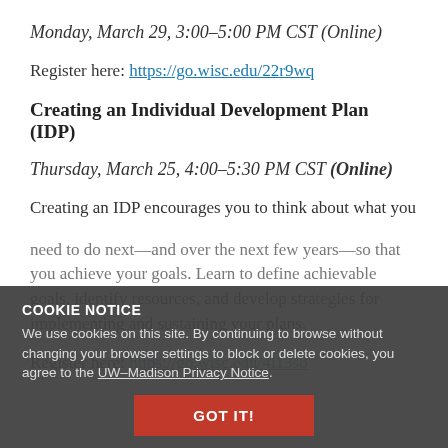Monday, March 29, 3:00–5:00 PM CST (Online)
Register here: https://go.wisc.edu/22r9wq
Creating an Individual Development Plan (IDP)
Thursday, March 25, 4:00–5:30 PM CST (Online)
Creating an IDP encourages you to think about what you need to do next—and over the next few years—so that you achieve your goals. Learn to define achievable goals, identify resources, and develop strategies for implementing and sustaining your plans.
Register here: https://go.wisc.edu/4l13s8
COOKIE NOTICE
We use cookies on this site. By continuing to browse without changing your browser settings to block or delete cookies, you agree to the UW–Madison Privacy Notice.